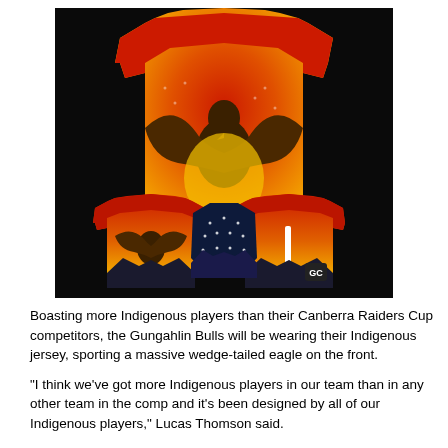[Figure (photo): Three Indigenous rugby league jerseys on a black background. The main jersey in the back is red and orange with a large wedge-tailed eagle design in the center. Two smaller jerseys are in the foreground — one on the left and one on the right, both featuring similar Indigenous artwork with red, orange, yellow and black colors. A dark navy/black vest-like garment is in the middle foreground.]
Boasting more Indigenous players than their Canberra Raiders Cup competitors, the Gungahlin Bulls will be wearing their Indigenous jersey, sporting a massive wedge-tailed eagle on the front.
"I think we've got more Indigenous players in our team than in any other team in the comp and it's been designed by all of our Indigenous players," Lucas Thomson said.